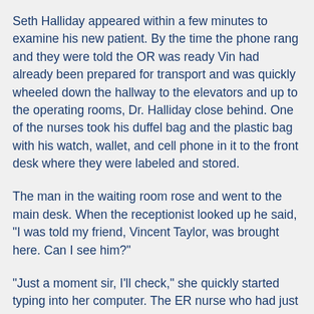Seth Halliday appeared within a few minutes to examine his new patient. By the time the phone rang and they were told the OR was ready Vin had already been prepared for transport and was quickly wheeled down the hallway to the elevators and up to the operating rooms, Dr. Halliday close behind. One of the nurses took his duffel bag and the plastic bag with his watch, wallet, and cell phone in it to the front desk where they were labeled and stored.
The man in the waiting room rose and went to the main desk. When the receptionist looked up he said, "I was told my friend, Vincent Taylor, was brought here. Can I see him?"
"Just a moment sir, I'll check," she quickly started typing into her computer. The ER nurse who had just finished labeling Vin's belongings heard the man and looked at the dark haired man dressed in jeans and jacket. He looked worried and kept twisting his fingers together. She looked at the receptionist and then left shaking her head.
"Mr. Taylor just went to surgery. Once out, only